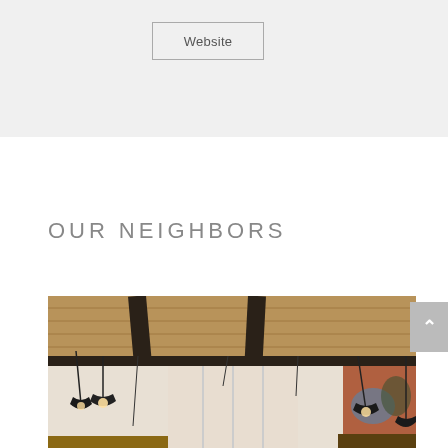Website
OUR NEIGHBORS
[Figure (photo): Interior photo of a restaurant or cafe space showing wooden ceiling beams, black structural beams, pendant lights hanging from the ceiling with Edison-style bulbs, light curtains in the background, and a colorful painted mural or artwork on the right wall.]